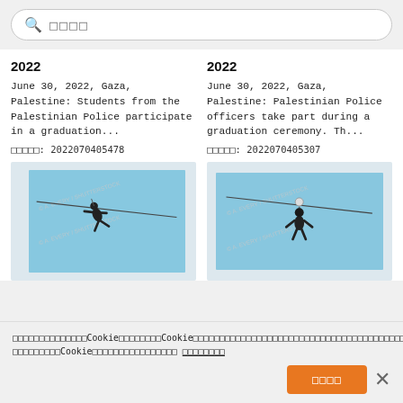□□□□ (search placeholder in Japanese)
2022
June 30, 2022, Gaza, Palestine: Students from the Palestinian Police participate in a graduation...
□□□□□: 2022070405478
[Figure (photo): Person hanging from a zip line or rope against a blue sky, seen from below. Watermarked stock photo.]
2022
June 30, 2022, Gaza, Palestine: Palestinian Police officers take part during a graduation ceremony. Th...
□□□□□: 2022070405307
[Figure (photo): Person in tactical gear descending on a zip line against a blue sky, holding equipment. Watermarked stock photo.]
□□□□□□□□□□□□□□□Cookie□□□□□□□□□Cookie□□□□□□□□□□□□□□□□□□□□□□□□□□□□□□□□□□□□□□□□□□□□□□□□□□□□□□□□□Cookie□□□□□□□□□□□□□□□□□□  □□□□□□□□
□□□□ (Accept button)